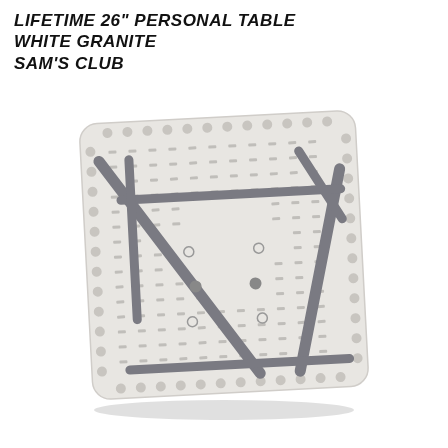LIFETIME 26" PERSONAL TABLE WHITE GRANITE SAM'S CLUB
[Figure (photo): Bottom view of a Lifetime 26-inch personal folding table with white granite top, showing the underside with gray folding metal legs and a white plastic ribbed/molded tabletop surface with dot-pattern edging.]